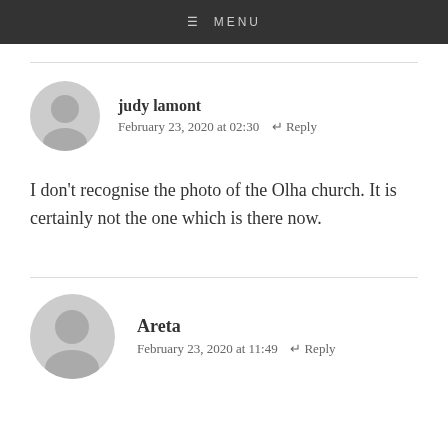☰ MENU
judy lamont
February 23, 2020 at 02:30  ↩ Reply
I don't recognise the photo of the Olha church. It is certainly not the one which is there now.
Areta
February 23, 2020 at 11:49  ↩ Reply